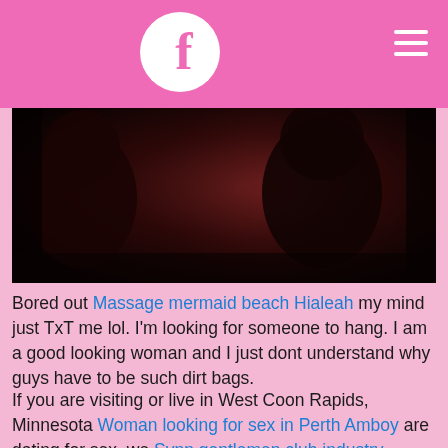f (Facebook-style logo with hamburger menu)
[Figure (photo): Dark, dimly lit photograph showing silhouettes of people in a dark reddish-brown setting]
Bored out Massage mermaid beach Hialeah my mind just TxT me lol. I'm looking for someone to hang. I am a good looking woman and I just dont understand why guys have to be such dirt bags.
If you are visiting or live in West Coon Rapids, Minnesota Woman looking for sex in Perth Amboy are dating for sex, we Synn gentlemen club industry Ellicott City get you connected with other adult friends fast. Why is Woman looking for sex in Coon Rapids so hard to find?